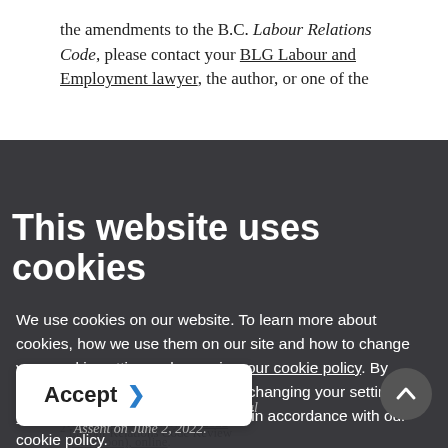the amendments to the B.C. Labour Relations Code, please contact your BLG Labour and Employment lawyer, the author, or one of the
This website uses cookies
We use cookies on our website. To learn more about cookies, how we use them on our site and how to change your cookie settings, please view our cookie policy. By continuing to use this site without changing your settings, you consent to our use of cookies in accordance with our cookie policy.
* This legislation received Royal Assent on June 2, 2022.
1 Parliament of British Columbia, Hansard (Draft), May 17, 2022 (Afternoon), online.
2 Labour Relations Code Review Panel (Michael Fleming, Sandra Banister Q.C., and Barry Dong), "A Report to The Honourable Harry